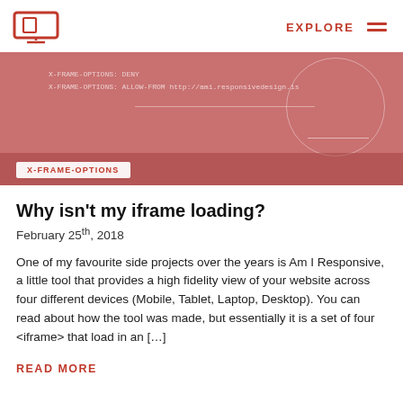EXPLORE
[Figure (illustration): Red/salmon background banner image with X-FRAME-OPTIONS code text, a circle outline, and a label badge reading 'X-FRAME-OPTIONS']
Why isn't my iframe loading?
February 25th, 2018
One of my favourite side projects over the years is Am I Responsive, a little tool that provides a high fidelity view of your website across four different devices (Mobile, Tablet, Laptop, Desktop). You can read about how the tool was made, but essentially it is a set of four <iframe> that load in an […]
READ MORE